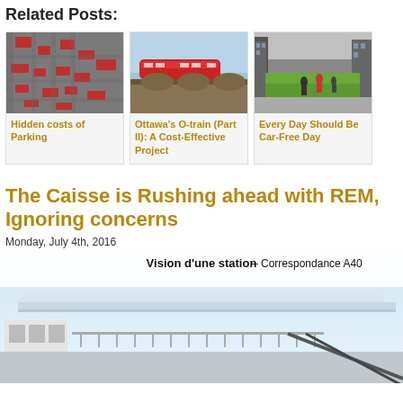Related Posts:
[Figure (photo): Aerial view of city streets with red highlighted buildings/parking areas]
Hidden costs of Parking
[Figure (photo): Red O-train on a bridge/viaduct]
Ottawa's O-train (Part II): A Cost-Effective Project
[Figure (photo): Street scene with grass and pedestrians in an urban setting]
Every Day Should Be Car-Free Day
The Caisse is Rushing ahead with REM, Ignoring concerns
Monday, July 4th, 2016
[Figure (illustration): Vision d'une station – Correspondance A40 – architectural rendering of a transit station]